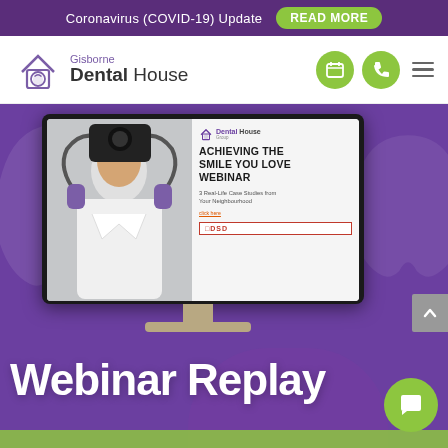Coronavirus (COVID-19) Update  READ MORE
[Figure (logo): Gisborne Dental House logo with tooth icon, navigation icons (calendar and phone in green circles), hamburger menu]
[Figure (screenshot): iMac monitor displaying 'ACHIEVING THE SMILE YOU LOVE WEBINAR – 3 Real-Life Case Studies from Your Neighbourhood' with a dentist/doctor silhouette on the left side and Dental House Group logo and DSD branding on the right]
Webinar Replay